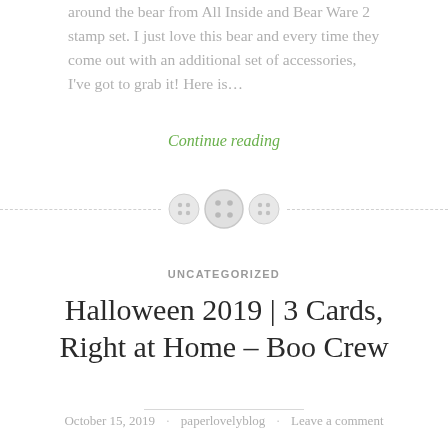around the bear from All Inside and Bear Ware 2 stamp set. I just love this bear and every time they come out with an additional set of accessories, I've got to grab it! Here is…
Continue reading
[Figure (illustration): Decorative divider with three button icons and dashed lines on either side]
UNCATEGORIZED
Halloween 2019 | 3 Cards, Right at Home – Boo Crew
October 15, 2019 · paperlovelyblog · Leave a comment
Hi there. Today I've got some cards to share with you using the Right at Home – Boo Crew stamp set. This is a